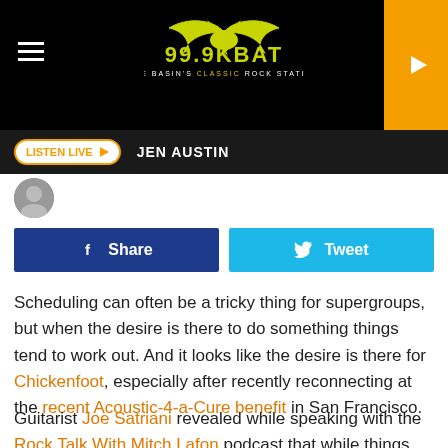[Figure (logo): 99.9 KBAT The Basin's Classic Rock Station logo with bat graphic on black background]
LISTEN LIVE ▶  JEN AUSTIN
[Figure (other): Share and Tweet social buttons]
Scheduling can often be a tricky thing for supergroups, but when the desire is there to do something things tend to work out. And it looks like the desire is there for Chickenfoot, especially after recently reconnecting at the recent Acoustic-4-a-Cure benefit in San Francisco.
Guitarist Joe Satriani revealed while speaking with the Rock Talk With Mitch Lafon podcast that while things were once a little murky about when the collective might regroup for new...